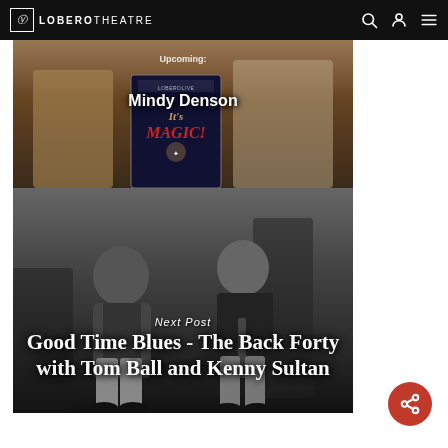LOBERO THEATRE
[Figure (photo): Photo of a person holding an 'It's Magic!' poster at Lobero Theatre, with text overlay 'Mindy Denson' and partial text above]
Mindy Denson
[Figure (photo): Black and white photo of two men (Tom Ball and Kenny Sultan) sitting, one older with mustache in vest, one younger in leather jacket, with text overlay 'Next Post' and title 'Good Time Blues - The Back Forty with Tom Ball and Kenny Sultan']
Next Post
Good Time Blues - The Back Forty with Tom Ball and Kenny Sultan